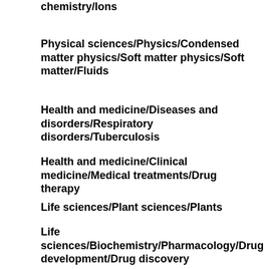chemistry/Ions
Physical sciences/Physics/Condensed matter physics/Soft matter physics/Soft matter/Fluids
Health and medicine/Diseases and disorders/Respiratory disorders/Tuberculosis
Health and medicine/Clinical medicine/Medical treatments/Drug therapy
Life sciences/Plant sciences/Plants
Life sciences/Biochemistry/Pharmacology/Drug development/Drug discovery